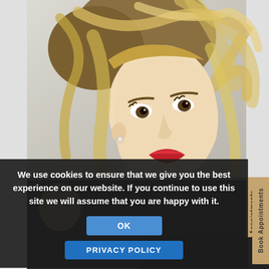[Figure (photo): Portrait photo of a young blonde woman with an updo hairstyle, red lipstick, wearing a pearl earring, looking over her shoulder against a light background. A vertical tab on the right side reads 'Book Appointments'.]
We use cookies to ensure that we give you the best experience on our website. If you continue to use this site we will assume that you are happy with it.
OK
PRIVACY POLICY